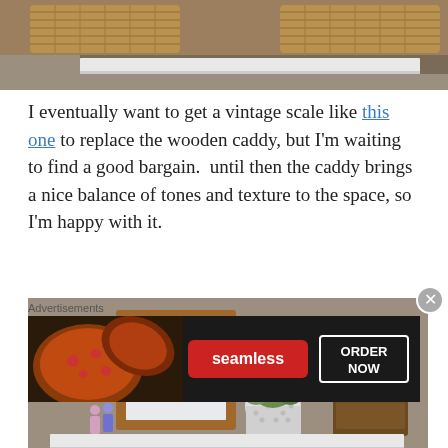[Figure (photo): Top portion of a shelf with woven baskets visible, white floating shelf below them, cropped at top of page]
I eventually want to get a vintage scale like this one to replace the wooden caddy, but I'm waiting to find a good bargain.  until then the caddy brings a nice balance of tones and texture to the space, so I'm happy with it.
[Figure (photo): A white floating shelf styled with small dolls, a framed print reading 'she lived a life she loved' in a wood frame, a white polka dot pot with greenery, a wooden caddy, and woven baskets below]
Advertisements
[Figure (photo): Seamless food delivery advertisement showing pizza slices on the left, Seamless logo in red center, and ORDER NOW button on the right against a dark background]